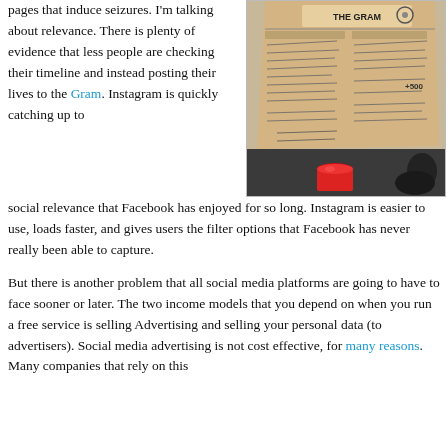pages that induce seizures. I'm talking about relevance. There is plenty of evidence that less people are checking their timeline and instead posting their lives to the Gram. Instagram is quickly catching up to social relevance that Facebook has enjoyed for so long. Instagram is easier to use, loads faster, and gives users the filter options that Facebook has never really been able to capture.
[Figure (photo): A hand-written note or sign on cardboard with text 'THE GRAM' visible at the top, various handwritten notes below, and a red cup/container in the foreground on a dark surface.]
But there is another problem that all social media platforms are going to have to face sooner or later. The two income models that you depend on when you run a free service is selling Advertising and selling your personal data (to advertisers). Social media advertising is not cost effective, for many reasons. Many companies that rely on this